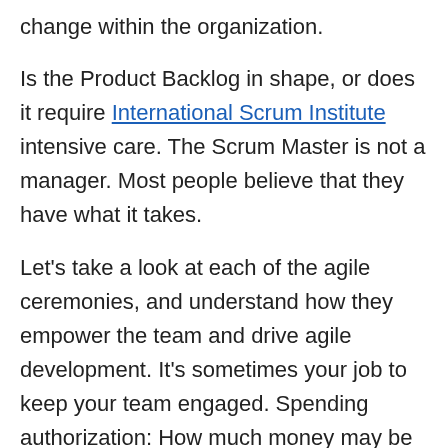change within the organization.
Is the Product Backlog in shape, or does it require International Scrum Institute intensive care. The Scrum Master is not a manager. Most people believe that they have what it takes.
Let's take a look at each of the agile ceremonies, and understand how they empower the team and drive agile development. It's sometimes your job to keep your team engaged. Spending authorization: How much money may be Scrum Institute spent over what period of time.
Just to be clear, a Scrum Master should have a Scrum Institute wider focus than just their